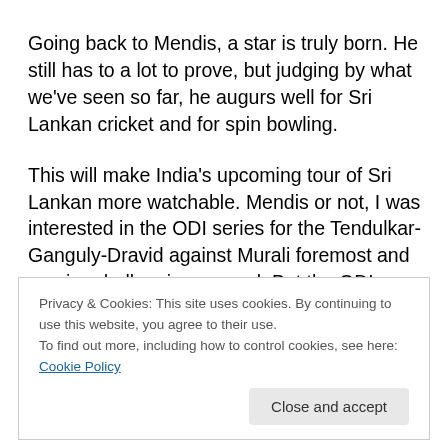Going back to Mendis, a star is truly born. He still has to a lot to prove, but judging by what we've seen so far, he augurs well for Sri Lankan cricket and for spin bowling.
This will make India's upcoming tour of Sri Lankan more watchable. Mendis or not, I was interested in the ODI series for the Tendulkar-Ganguly-Dravid against Murali foremost and umpire-challenging second. But the ODI series is now spiced up with Mendis being a definte
Privacy & Cookies: This site uses cookies. By continuing to use this website, you agree to their use.
To find out more, including how to control cookies, see here: Cookie Policy
Close and accept